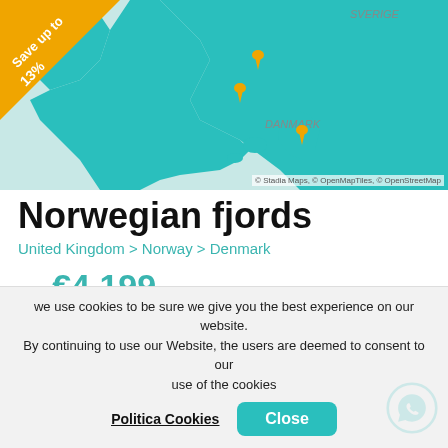[Figure (map): Map of Scandinavia/Northern Europe showing Norway, Denmark, Sweden (SVERIGE, DANMARK labels) with teal land masses on light blue sea background. Orange location pin markers on key cities. Orange diagonal triangle badge in top-left corner reading 'Save up to 13%'. Map credits: © Stadia Maps, © OpenMapTiles, © OpenStreetMap.]
Norwegian fjords
United Kingdom > Norway > Denmark
from €4,199
Tour Operator
Windstar Cruises
Ship
Star Legend
we use cookies to be sure we give you the best experience on our website. By continuing to use our Website, the users are deemed to consent to our use of the cookies
Politica Cookies
Close